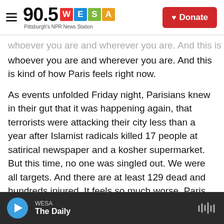90.5 WESA – Pittsburgh's NPR News Station | Donate
whoever you are and wherever you are. And this is kind of how Paris feels right now.
As events unfolded Friday night, Parisians knew in their gut that it was happening again, that terrorists were attacking their city less than a year after Islamist radicals killed 17 people at satirical newspaper and a kosher supermarket. But this time, no one was singled out. We were all targets. And there are at least 129 dead and hundreds injured. It feels so much worse. Paris has been wounded. Parisians are walking around in a daze. And many say they don't feel safe anymore.
WESA – The Daily